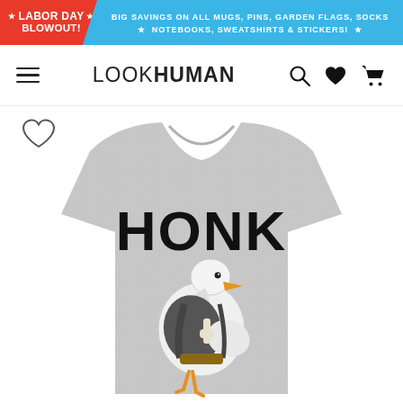LABOR DAY BLOWOUT! BIG SAVINGS ON ALL MUGS, PINS, GARDEN FLAGS, SOCKS ★ NOTEBOOKS, SWEATSHIRTS & STICKERS! ★
[Figure (logo): LookHuman website navigation bar with hamburger menu, LOOKHUMAN logo, search icon, heart icon, and shopping cart icon]
[Figure (photo): Gray heather t-shirt with a cartoon goose graphic and the text HONK printed in large bold letters above the goose illustration]